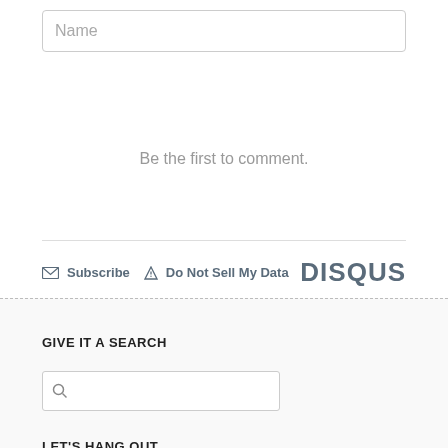Name
Be the first to comment.
Subscribe   Do Not Sell My Data
DISQUS
GIVE IT A SEARCH
[Figure (other): Search input box with magnifying glass icon]
LET'S HANG OUT